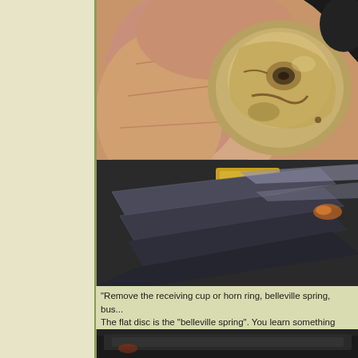[Figure (photo): Close-up photo of a hand holding a brass/golden colored receiving cup or horn ring component, with metallic parts visible underneath including what appears to be steering column components.]
"Remove the receiving cup or horn ring, belleville spring, bus... The flat disc is the "belleville spring". You learn something ne...
[Figure (photo): Partial view of additional mechanical components at the bottom of the image.]